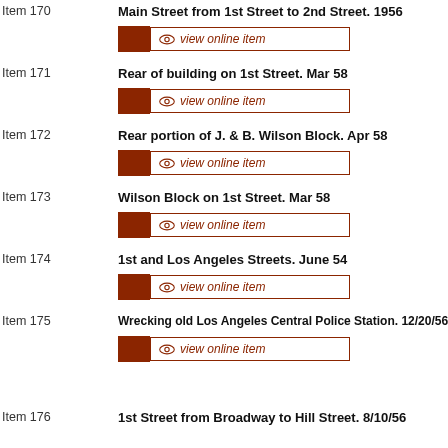Item 170   Main Street from 1st Street to 2nd Street. 1956
Item 171   Rear of building on 1st Street. Mar 58
Item 172   Rear portion of J. & B. Wilson Block. Apr 58
Item 173   Wilson Block on 1st Street. Mar 58
Item 174   1st and Los Angeles Streets. June 54
Item 175   Wrecking old Los Angeles Central Police Station. 12/20/56
Item 176   1st Street from Broadway to Hill Street. 8/10/56